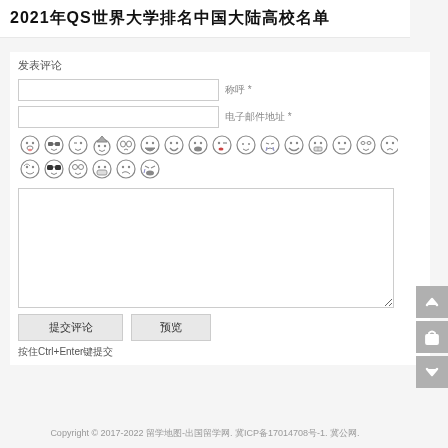2021年QS世界大学排名中国大陆高校名单
发表评论
称呼 *
电子邮件地址 *
[Figure (illustration): Two rows of emoji/emoticon icons for comment decoration]
Textarea for comment input
提交评论
预览
按住Ctrl+Enter键提交
Copyright © 2017-2022 留学地图-出国留学网. 冀ICP备17014708号-1. 冀公网.